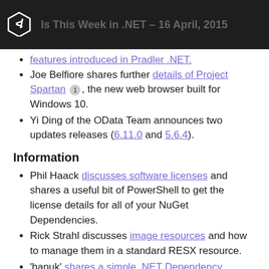Is This Week in .NET – 16 April, 2015
features introduced in Pradler .NET (link, cut off at top)
Joe Belfiore shares further details of Project Spartan [1], the new web browser built for Windows 10.
Yi Ding of the OData Team announces two updates releases (6.11.0 and 5.6.4).
Information
Phil Haack discusses software licenses and shares a useful bit of PowerShell to get the license details for all of your NuGet Dependencies.
Rick Strahl discusses image resources and how to manage them in a standard RESX resource.
'hanuk' shares a simple .NET Dependency Injector / Inversion of Control Container [2] which allows you to register abstract types with their concrete implementation.
Shaun Xu, Gaurav H, and 'damienbod' all take a look at AngularJS Routers.
K. Scott Allen takes a look at the Commands functionality [1] of ASP.NET 5 that can be used for migrations, starting